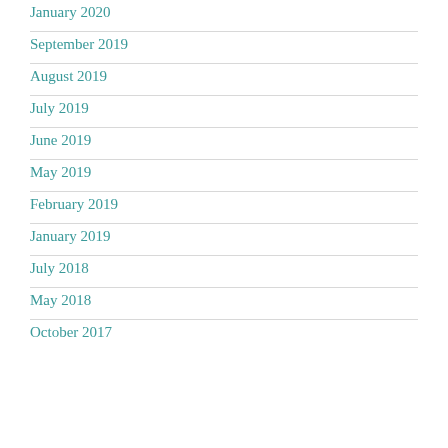January 2020
September 2019
August 2019
July 2019
June 2019
May 2019
February 2019
January 2019
July 2018
May 2018
October 2017